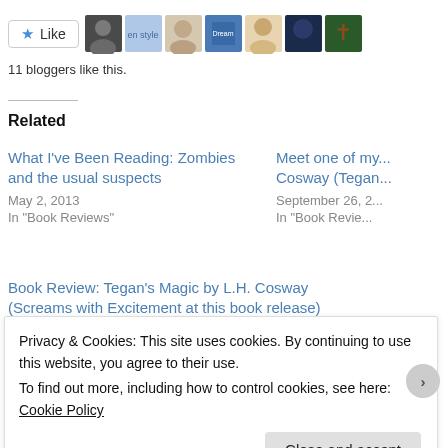[Figure (other): Like button with star icon and a row of blogger avatar thumbnails]
11 bloggers like this.
Related
What I've Been Reading: Zombies and the usual suspects
May 2, 2013
In "Book Reviews"
Meet one of my... Cosway (Tegan...
September 26, 2...
In "Book Revie..."
Book Review: Tegan's Magic by L.H. Cosway (Screams with Excitement at this book release)
March 15, 2013
Privacy & Cookies: This site uses cookies. By continuing to use this website, you agree to their use.
To find out more, including how to control cookies, see here: Cookie Policy
Close and accept